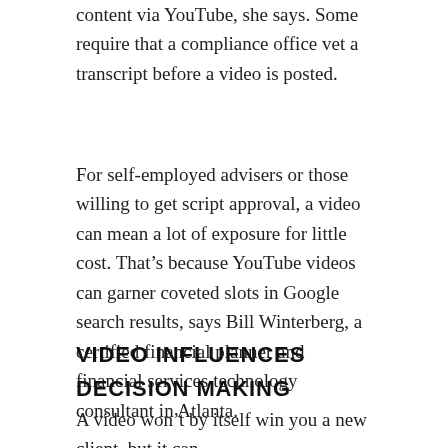content via YouTube, she says. Some require that a compliance office vet a transcript before a video is posted.
For self-employed advisers or those willing to get script approval, a video can mean a lot of exposure for little cost. That’s because YouTube videos can garner coveted slots in Google search results, says Bill Winterberg, a certified financial planner and financial services technology consultant in Atlanta.
VIDEO INFLUENCES DECISION MAKING
A video won’t by itself win you a new client, but it can